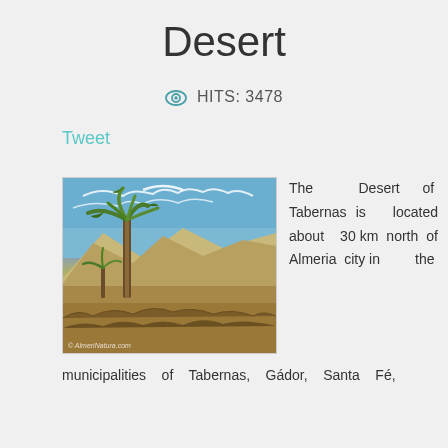Desert
HITS: 3478
Tweet
[Figure (photo): Desert of Tabernas landscape with palm trees, arid hills and blue sky. Photo credit: © AlmeriNatura.com]
The Desert of Tabernas is located about 30 km north of Almeria city in the
municipalities of Tabernas, Gádor, Santa Fé,